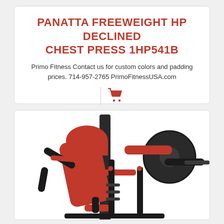PANATTA FREEWEIGHT HP DECLINED CHEST PRESS 1HP541B
Primo Fitness Contact us for custom colors and padding prices. 714-957-2765 PrimoFitnessUSA.com
[Figure (photo): Red and black Panatta Freeweight HP Declined Chest Press machine (model 1HP541B) showing the padded seat, back support, and weight plate holders with barbell handles.]